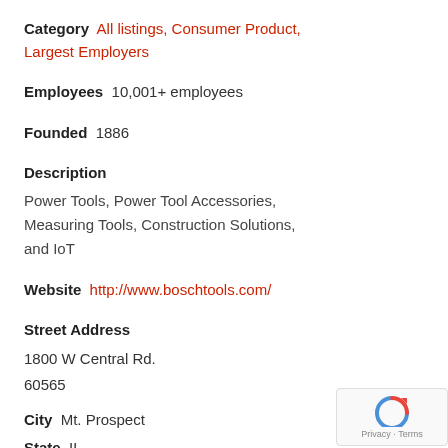Category  All listings, Consumer Product, Largest Employers
Employees  10,001+ employees
Founded  1886
Description
Power Tools, Power Tool Accessories, Measuring Tools, Construction Solutions, and IoT
Website  http://www.boschtools.com/
Street Address
1800 W Central Rd.
60565
City  Mt. Prospect
State  IL